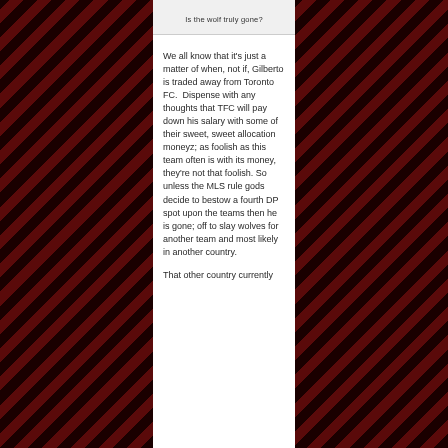Is the wolf truly gone?
We all know that it's just a matter of when, not if, Gilberto is traded away from Toronto FC.  Dispense with any thoughts that TFC will pay down his salary with some of their sweet, sweet allocation moneyz; as foolish as this team often is with its money, they're not that foolish. So unless the MLS rule gods decide to bestow a fourth DP spot upon the teams then he is gone; off to slay wolves for another team and most likely in another country.
That other country currently